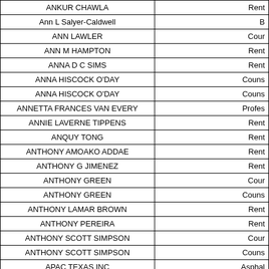| Name | Type |
| --- | --- |
| ANKUR CHAWLA | Rent |
| Ann L Salyer-Caldwell | B |
| ANN LAWLER | Cour |
| ANN M HAMPTON | Rent |
| ANNA D C SIMS | Rent |
| ANNA HISCOCK O'DAY | Couns |
| ANNA HISCOCK O'DAY | Couns |
| ANNETTA FRANCES VAN EVERY | Profes |
| ANNIE LAVERNE TIPPENS | Rent |
| ANQUY TONG | Rent |
| ANTHONY AMOAKO ADDAE | Rent |
| ANTHONY G JIMENEZ | Rent |
| ANTHONY GREEN | Cour |
| ANTHONY GREEN | Couns |
| ANTHONY LAMAR BROWN | Rent |
| ANTHONY PEREIRA | Rent |
| ANTHONY SCOTT SIMPSON | Cour |
| ANTHONY SCOTT SIMPSON | Couns |
| APAC TEXAS INC | Asphal |
| APAC TEXAS INC | Asphal |
| APAC TEXAS INC | Asphal |
| APANIS REALTY LLC | Rent |
| APPROVED PROPERTIES LLC | Rent |